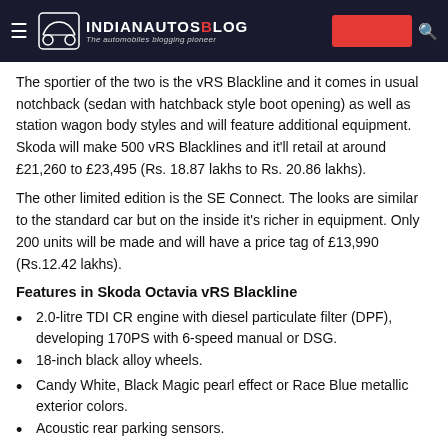IndianAutosBlog — The automobiles blogging pioneer
The sportier of the two is the vRS Blackline and it comes in usual notchback (sedan with hatchback style boot opening) as well as station wagon body styles and will feature additional equipment. Skoda will make 500 vRS Blacklines and it'll retail at around £21,260 to £23,495 (Rs. 18.87 lakhs to Rs. 20.86 lakhs).
The other limited edition is the SE Connect. The looks are similar to the standard car but on the inside it's richer in equipment. Only 200 units will be made and will have a price tag of £13,990 (Rs.12.42 lakhs).
Features in Skoda Octavia vRS Blackline
2.0-litre TDI CR engine with diesel particulate filter (DPF), developing 170PS with 6-speed manual or DSG.
18-inch black alloy wheels.
Candy White, Black Magic pearl effect or Race Blue metallic exterior colors.
Acoustic rear parking sensors.
Amundsen satellite navigation system.